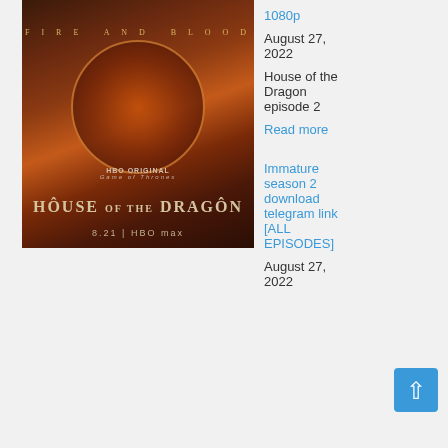[Figure (photo): House of the Dragon HBO Max promotional poster with dragon imagery and text 'Fire and Blood', '8.21 | HBO Max']
1080p
August 27, 2022
House of the Dragon episode 2
Read more
Immature season 2 download telegram link [ALL EPISODES]
August 27, 2022